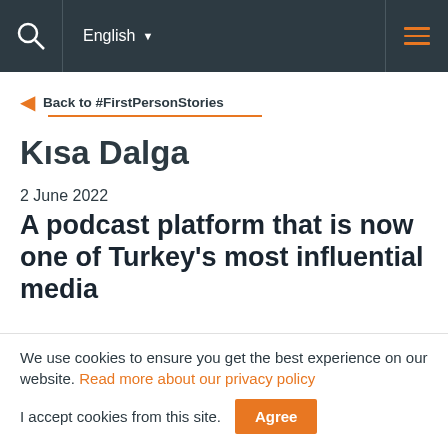English [navigation bar with search and hamburger menu]
Back to #FirstPersonStories
Kısa Dalga
2 June 2022
A podcast platform that is now one of Turkey's most influential media
We use cookies to ensure you get the best experience on our website. Read more about our privacy policy
I accept cookies from this site. Agree